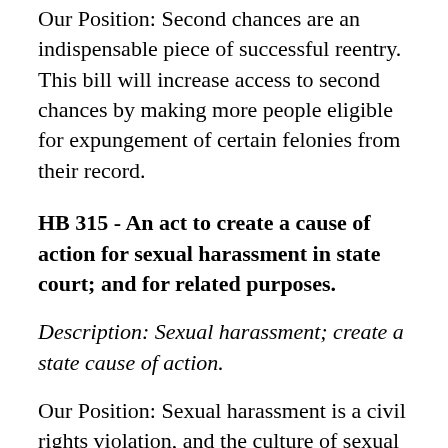Our Position: Second chances are an indispensable piece of successful reentry. This bill will increase access to second chances by making more people eligible for expungement of certain felonies from their record.
HB 315 - An act to create a cause of action for sexual harassment in state court; and for related purposes.
Description: Sexual harassment; create a state cause of action.
Our Position: Sexual harassment is a civil rights violation, and the culture of sexual harassment must be dismantled. This bill will stop gender based violence and harassment in